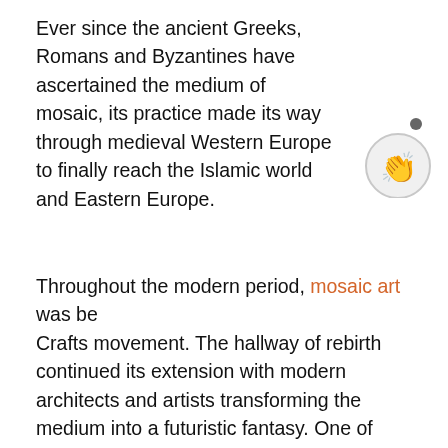Ever since the ancient Greeks, Romans and Byzantines have ascertained the medium of mosaic, its practice made its way through medieval Western Europe to finally reach the Islamic world and Eastern Europe.
[Figure (illustration): A circular notification or chat bubble icon with a hand/clapping emoji inside, and a small dot indicator above it.]
Throughout the modern period, mosaic art was being revived within the Arts and Crafts movement. The hallway of rebirth continued its extension with modern architects and artists transforming the medium into a futuristic fantasy. One of these architects is the practitioner of Catalan Modernism, Antoni Gaudi who brought mosaic art towards its current international forefront. He considers every inch and element of his creations and integrates materials such as ceramics, glass and marble tiles into his architectural designs. One of the main reasons mosaics were integrated into architecture, was to bring art to the science. The flat and smooth texture of tiles and their perpetual hardness